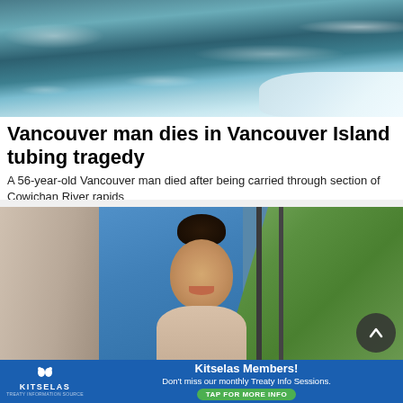[Figure (photo): Aerial or close-up photo of river rapids, showing turbulent white water and green-blue water of Cowichan River]
Vancouver man dies in Vancouver Island tubing tragedy
A 56-year-old Vancouver man died after being carried through section of Cowichan River rapids
Black Press Media
[Figure (photo): Photo of a young woman with hair in a bun, smiling, standing outdoors with a tree and blue wall visible in background]
[Figure (infographic): Advertisement banner for Kitselas with logo, text reading Kitselas Members! Don't miss our monthly Treaty Info Sessions. TAP FOR MORE INFO]